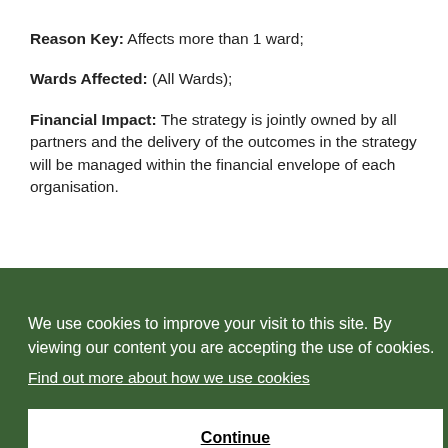Reason Key: Affects more than 1 ward;
Wards Affected: (All Wards);
Financial Impact: The strategy is jointly owned by all partners and the delivery of the outcomes in the strategy will be managed within the financial envelope of each organisation.
[Figure (other): Cookie consent overlay banner with dark green background containing text: 'We use cookies to improve your visit to this site. By viewing our content you are accepting the use of cookies.' with a 'Find out more about how we use cookies' link and a 'Continue' button.]
The JHWB strategy was developed through co-